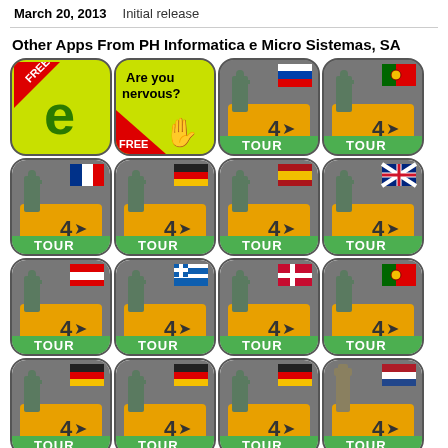March 20, 2013   Initial release
Other Apps From PH Informatica e Micro Sistemas, SA
[Figure (illustration): 4x4 grid of app icons: row1: free eco app, are you nervous free app, tour4 russian flag, tour4 portuguese flag; row2: tour4 french, german, spanish, UK flags; row3: tour4 austrian, greek, danish, portuguese flags; row4: tour4 german(3 variants), dutch flag]